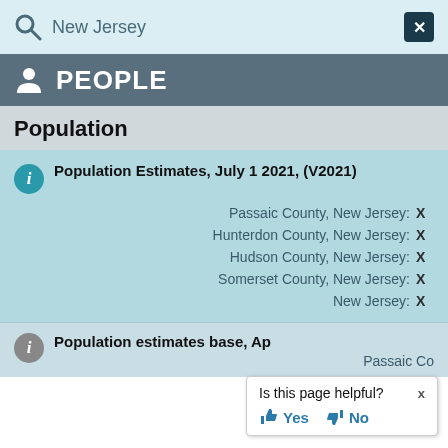New Jersey
PEOPLE
Population
Population Estimates, July 1 2021, (V2021)
| Location | Value |
| --- | --- |
| Passaic County, New Jersey: | X |
| Hunterdon County, New Jersey: | X |
| Hudson County, New Jersey: | X |
| Somerset County, New Jersey: | X |
| New Jersey: | X |
Population estimates base, Ap
Passaic Co
Is this page helpful? Yes No